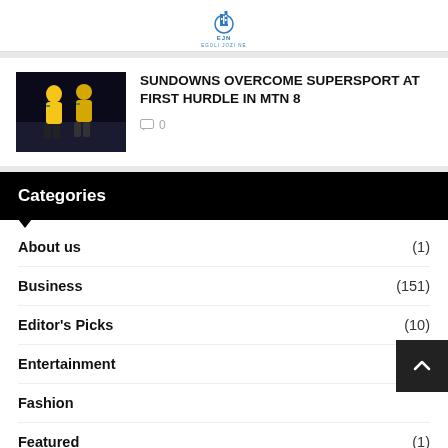EJN EGOLI JOZI NE
SUNDOWNS OVERCOME SUPERSPORT AT FIRST HURDLE IN MTN 8
0
Categories
About us (1)
Business (151)
Editor's Picks (10)
Entertainment (59)
Fashion
Featured (1)
Fitness (10)